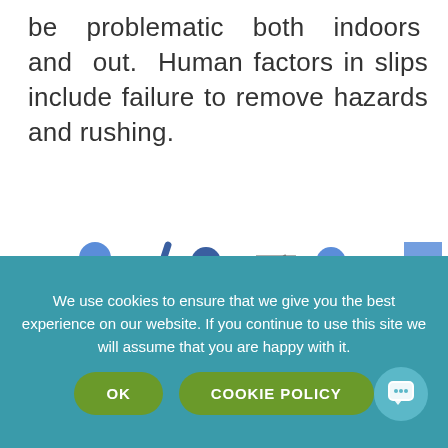be problematic both indoors and out. Human factors in slips include failure to remove hazards and rushing.
[Figure (illustration): Eight icons showing people slipping, tripping, falling, and encountering workplace hazards in two rows of four icons each. Icons use blue and gray color scheme.]
We use cookies to ensure that we give you the best experience on our website. If you continue to use this site we will assume that you are happy with it.